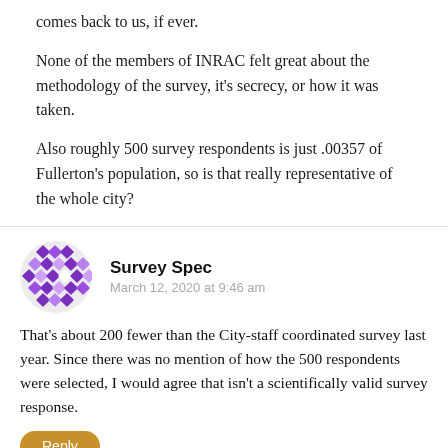comes back to us, if ever.
None of the members of INRAC felt great about the methodology of the survey, it's secrecy, or how it was taken.
Also roughly 500 survey respondents is just .00357 of Fullerton's population, so is that really representative of the whole city?
[Figure (illustration): Purple and white geometric/diamond patterned avatar icon for user Survey Spec]
Survey Spec
March 12, 2020 at 9:46 am
That's about 200 fewer than the City-staff coordinated survey last year. Since there was no mention of how the 500 respondents were selected, I would agree that isn't a scientifically valid survey response.
Reply
Pingback: Council Approves Sales Tax Increase Ballot